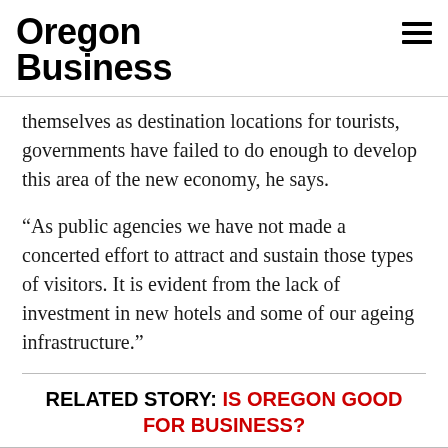Oregon Business
themselves as destination locations for tourists, governments have failed to do enough to develop this area of the new economy, he says.
“As public agencies we have not made a concerted effort to attract and sustain those types of visitors. It is evident from the lack of investment in new hotels and some of our ageing infrastructure.”
RELATED STORY: IS OREGON GOOD FOR BUSINESS?